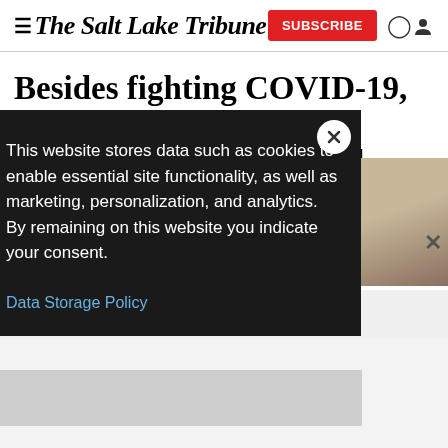The Salt Lake Tribune
Besides fighting COVID-19, Mitt Romney wants aid package to reform Social Security and
This website stores data such as cookies to enable essential site functionality, as well as marketing, personalization, and analytics. By remaining on this website you indicate your consent.
Data Storage Policy